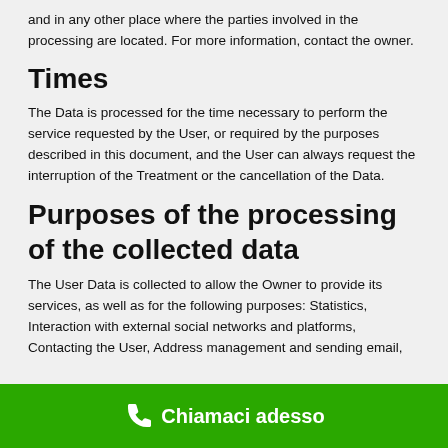and in any other place where the parties involved in the processing are located. For more information, contact the owner.
Times
The Data is processed for the time necessary to perform the service requested by the User, or required by the purposes described in this document, and the User can always request the interruption of the Treatment or the cancellation of the Data.
Purposes of the processing of the collected data
The User Data is collected to allow the Owner to provide its services, as well as for the following purposes: Statistics, Interaction with external social networks and platforms, Contacting the User, Address management and sending email,
Chiamaci adesso